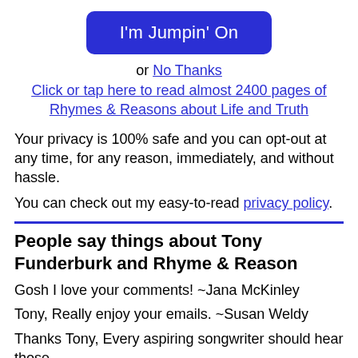[Figure (other): Blue rounded rectangle button with white text reading I'm Jumpin' On]
or No Thanks
Click or tap here to read almost 2400 pages of Rhymes & Reasons about Life and Truth
Your privacy is 100% safe and you can opt-out at any time, for any reason, immediately, and without hassle.
You can check out my easy-to-read privacy policy.
People say things about Tony Funderburk and Rhyme & Reason
Gosh I love your comments! ~Jana McKinley
Tony, Really enjoy your emails. ~Susan Weldy
Thanks Tony, Every aspiring songwriter should hear those